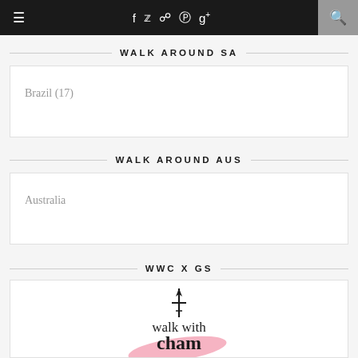≡  f  twitter  instagram  pinterest  google+  🔍
WALK AROUND SA
Brazil (17)
WALK AROUND AUS
Australia
WWC X GS
[Figure (logo): Walk with Cham logo — text 'walk with cham' with an airplane icon above, pink swoosh shape underneath]